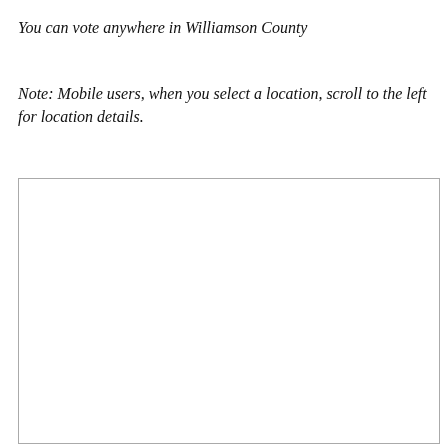You can vote anywhere in Williamson County
Note: Mobile users, when you select a location, scroll to the left for location details.
[Figure (other): Large empty map or interactive area box with a light gray border, content not visible]